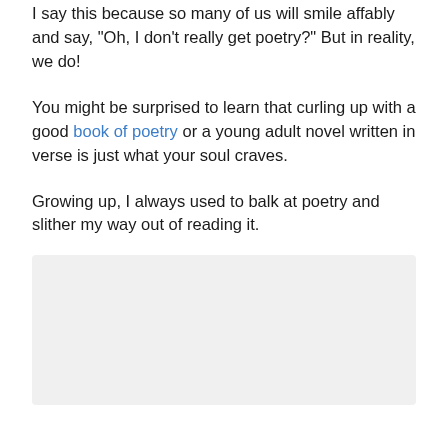I say this because so many of us will smile affably and say, "Oh, I don't really get poetry?" But in reality, we do!
You might be surprised to learn that curling up with a good book of poetry or a young adult novel written in verse is just what your soul craves.
Growing up, I always used to balk at poetry and slither my way out of reading it.
[Figure (photo): A light gray rectangular image placeholder area below the text paragraphs.]